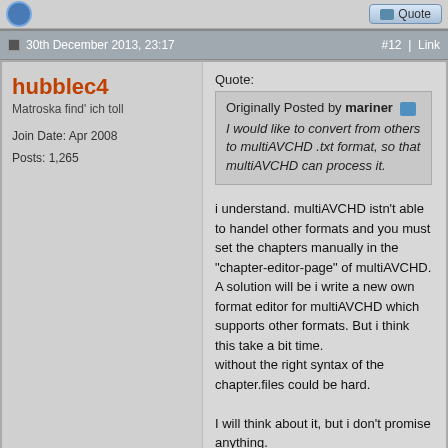30th December 2013, 23:17  #12 | Link
hubblec4
Matroska find' ich toll
Join Date: Apr 2008
Posts: 1,265
Quote:
Originally Posted by mariner
I would like to convert from others to multiAVCHD .txt format, so that multiAVCHD can process it.
i understand. multiAVCHD istn't able to handel other formats and you must set the chapters manually in the "chapter-editor-page" of multiAVCHD. A solution will be i write a new own format editor for multiAVCHD which supports other formats. But i think this take a bit time.
without the right syntax of the chapter.files could be hard.

I will think about it, but i don't promise anything.
chapterEditor || Matroska-Playback || hSplit || DiscShare